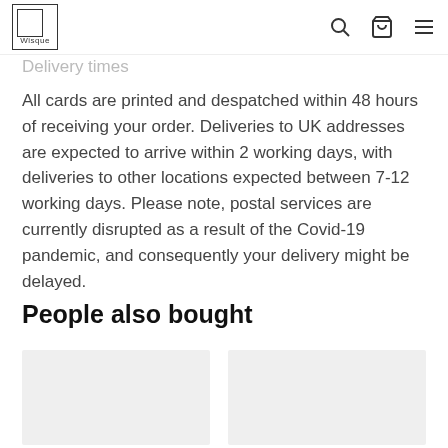Wisque (logo) with search, cart, and menu icons
postage to EU's (inc. VAT) and for all other handmade
Delivery times
All cards are printed and despatched within 48 hours of receiving your order. Deliveries to UK addresses are expected to arrive within 2 working days, with deliveries to other locations expected between 7-12 working days. Please note, postal services are currently disrupted as a result of the Covid-19 pandemic, and consequently your delivery might be delayed.
People also bought
[Figure (photo): Product thumbnail placeholder 1]
[Figure (photo): Product thumbnail placeholder 2]